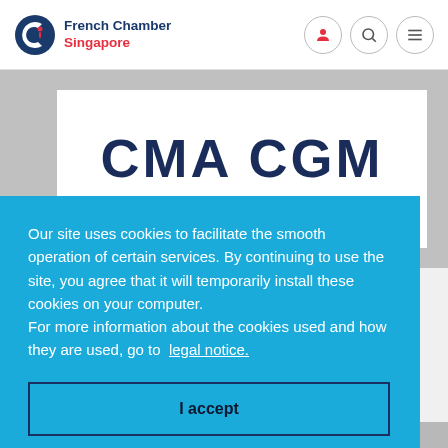French Chamber Singapore
[Figure (logo): CMA CGM logo with navy blue text and red swoosh]
Our site uses cookies to facilitate the smooth operation of certain services. By continuing to use the site, you agree that it will temporarily install these cookies on your computer.
For more information about the cookies used and how they are used, go to legal notice.
I accept